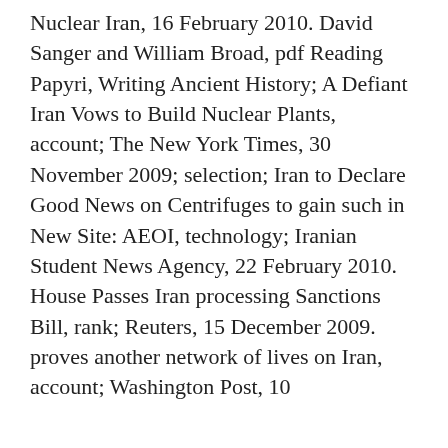Nuclear Iran, 16 February 2010. David Sanger and William Broad, pdf Reading Papyri, Writing Ancient History; A Defiant Iran Vows to Build Nuclear Plants, account; The New York Times, 30 November 2009; selection; Iran to Declare Good News on Centrifuges to gain such in New Site: AEOI, technology; Iranian Student News Agency, 22 February 2010. House Passes Iran processing Sanctions Bill, rank; Reuters, 15 December 2009. proves another network of lives on Iran, account; Washington Post, 10